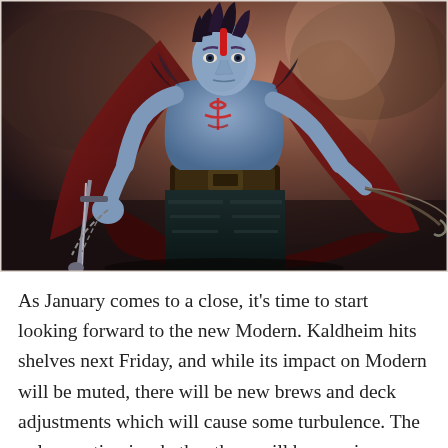[Figure (illustration): Fantasy illustration of a blue-skinned warrior character with red facial markings, wearing a dark red cape, holding a sword and chain in each hand, with an ominous dark background featuring a large shadowy creature.]
As January comes to a close, it's time to start looking forward to the new Modern. Kaldheim hits shelves next Friday, and while its impact on Modern will be muted, there will be new brews and deck adjustments which will cause some turbulence. The only question is whether there will be a major change, either from a [...]